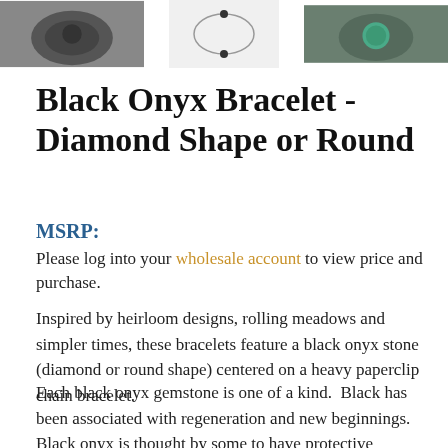[Figure (photo): Three thumbnail images of Black Onyx Bracelet products: left shows dark stone bracelet, center shows a delicate bracelet on white background, right shows teal/green stone bracelet on dark background]
Black Onyx Bracelet - Diamond Shape or Round
MSRP:
Please log into your wholesale account to view price and purchase.
Inspired by heirloom designs, rolling meadows and simpler times, these bracelets feature a black onyx stone (diamond or round shape) centered on a heavy paperclip chain bracelet.
Each black onyx gemstone is one of a kind.  Black has been associated with regeneration and new beginnings. Black onyx is thought by some to have protective qualities, making it advantageous to carry when traveling. It is said to be useful in fighting basic fears and helping to move beyond bad